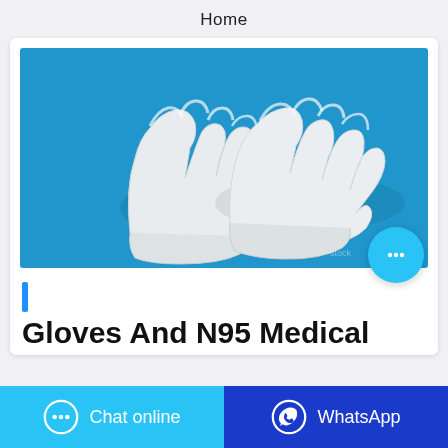Home
[Figure (photo): Two white latex/nitrile medical gloves laid flat on a bright blue background, photographed from above.]
Gloves And N95 Medical
Chat online
WhatsApp